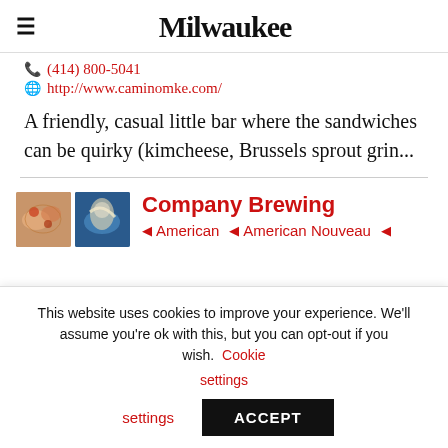Milwaukee
(414) 800-5041
http://www.caminomke.com/
A friendly, casual little bar where the sandwiches can be quirky (kimcheese, Brussels sprout grin...
Company Brewing
American  American Nouveau
This website uses cookies to improve your experience. We'll assume you're ok with this, but you can opt-out if you wish. Cookie settings ACCEPT